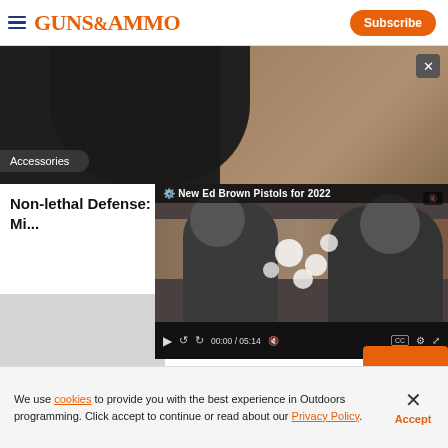GUNS&AMMO | Subscribe
[Figure (photo): Photo showing person in black jacket against brown background, with Accessories badge overlay]
Non-lethal Defense: Mi...
[Figure (screenshot): Video player showing two men examining a pistol at what appears to be a gun show (SHOT Show). Video title: New Ed Brown Pistols for 2022. Time: 00:00 / 05:14]
We use cookies to provide you with the best experience in Outdoors programming. Click accept to continue or read about our Privacy Policy.